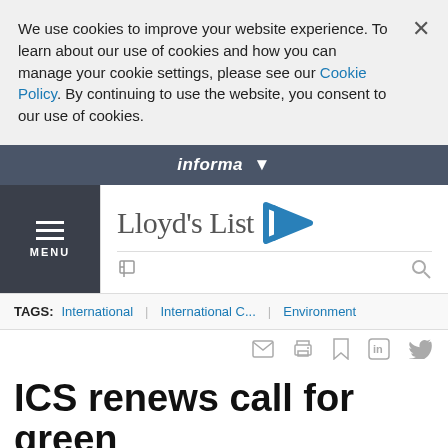We use cookies to improve your website experience. To learn about our use of cookies and how you can manage your cookie settings, please see our Cookie Policy. By continuing to use the website, you consent to our use of cookies.
informa
[Figure (logo): Lloyd's List logo with blue arrow/play icon]
TAGS: International | International C... | Environment
ICS renews call for green fund to cut emissions